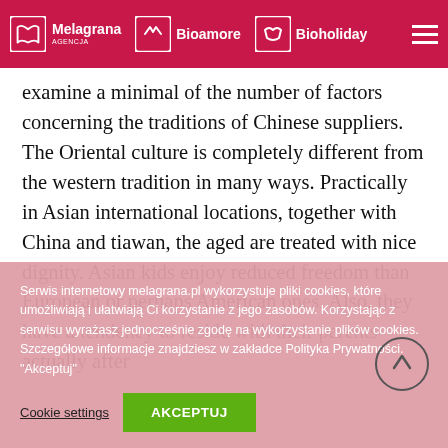Melagrana Agencja | Bioamore | Bioholiday
Before selecting a member of the wedding on our Chinese dating website, you additionally wants to look at to examine a minimal of the number of factors concerning the traditions of Chinese suppliers. The Oriental culture is completely different from the western tradition in many ways. Practically in Asian international locations, together with China and tiawan, the aged are treated with nice dignity. Asian kids enjoy reduced freedom than European or perhaps American ones. Also, they have a tendency to reside with their parents actually after
Serwis internetowy melagrana.pl wykorzystuje pliki cookies, które umożliwiają i ułatwiają Ci korzystanie z jego zasobów. Korzystając z serwisu wyrażasz jednocześnie zgodę na wykorzystanie plików cookies. Szczegółowe informacje znajdziesz w zakładce Polityka Prywatności. "Akceptuj"
Cookie settings | AKCEPTUJ